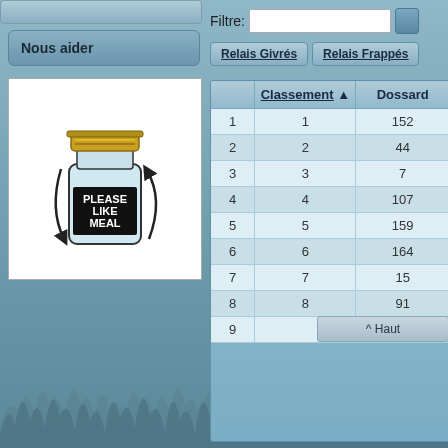Nous aider
[Figure (illustration): Mason jar with arrows and text PLEASE LIKE MEAL inside]
Filtre:
Relais Givrés
Relais Frappés
|  | Classement | Dossard |
| --- | --- | --- |
| 1 | 1 | 152 |
| 2 | 2 | 44 |
| 3 | 3 | 7 |
| 4 | 4 | 107 |
| 5 | 5 | 159 |
| 6 | 6 | 164 |
| 7 | 7 | 15 |
| 8 | 8 | 91 |
| 9 |  |  |
^ Haut